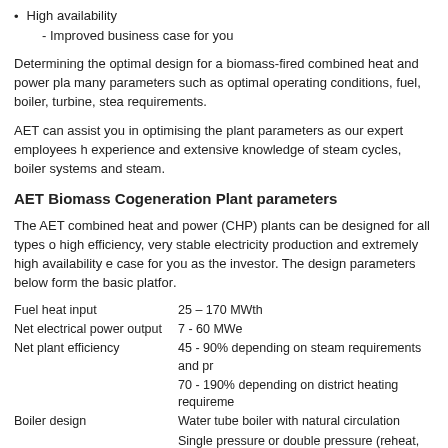High availability
- Improved business case for you
Determining the optimal design for a biomass-fired combined heat and power pla... many parameters such as optimal operating conditions, fuel, boiler, turbine, stea... requirements.
AET can assist you in optimising the plant parameters as our expert employees h... experience and extensive knowledge of steam cycles, boiler systems and steam...
AET Biomass Cogeneration Plant parameters
The AET combined heat and power (CHP) plants can be designed for all types o... high efficiency, very stable electricity production and extremely high availability e... case for you as the investor. The design parameters below form the basic platfor...
| Parameter | Value |
| --- | --- |
| Fuel heat input | 25 – 170 MWth |
| Net electrical power output | 7 - 60 MWe |
| Net plant efficiency | 45 - 90% depending on steam requirements and pr... |
|  | 70 - 190% depending on district heating requireme... |
| Boiler design | Water tube boiler with natural circulation |
|  | Single pressure or double pressure (reheat, e.g. 14... |
| Operating time | At least 8000 hours without shutdown for manual c... |
| Boiler efficiency | 91% - 94% depending on fuel moisture |